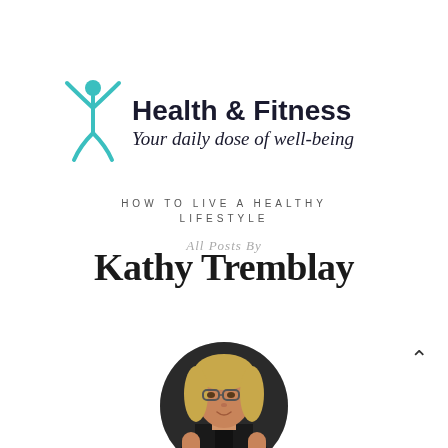[Figure (logo): Health & Fitness logo: teal stick figure with arms raised, bold text 'Health & Fitness', italic script subtitle 'Your daily dose of well-being']
HOW TO LIVE A HEALTHY LIFESTYLE
All Posts By
Kathy Tremblay
[Figure (photo): Circular cropped photo of Kathy Tremblay, a woman with blonde hair wearing a black tank top, posed against a dark background]